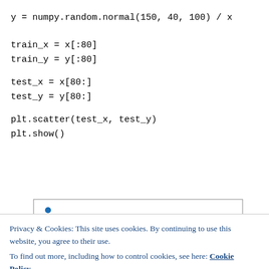y = numpy.random.normal(150, 40, 100) / x
train_x = x[:80]
train_y = y[:80]
test_x = x[80:]
test_y = y[80:]
plt.scatter(test_x, test_y)
plt.show()
[Figure (scatter-plot): Partial scatter plot visible: y-axis shows value 200 and 50, a blue dot visible at top-left near y=200, more blue dots partially visible at bottom.]
Privacy & Cookies: This site uses cookies. By continuing to use this website, you agree to their use.
To find out more, including how to control cookies, see here: Cookie Policy
Close and accept